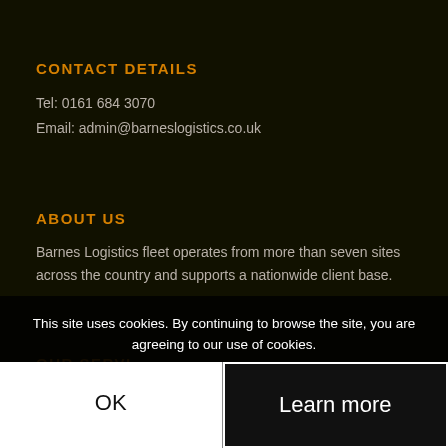CONTACT DETAILS
Tel: 0161 684 3070
Email: admin@barneslogistics.co.uk
ABOUT US
Barnes Logistics fleet operates from more than seven sites across the country and supports a nationwide client base.
OUR SERVI...
We supply... logistics support and warehousing to business ac...
This site uses cookies. By continuing to browse the site, you are agreeing to our use of cookies.
OK
Learn more